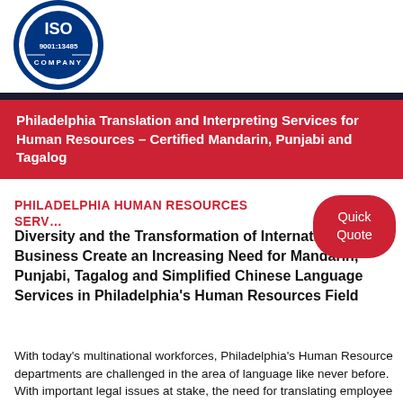[Figure (logo): ISO 9001:13485 COMPANY certification logo, circular blue and white badge]
Philadelphia Translation and Interpreting Services for Human Resources – Certified Mandarin, Punjabi and Tagalog
PHILADELPHIA HUMAN RESOURCES SERVICES
Quick Quote
Diversity and the Transformation of International Business Create an Increasing Need for Mandarin, Punjabi, Tagalog and Simplified Chinese Language Services in Philadelphia's Human Resources Field
With today's multinational workforces, Philadelphia's Human Resource departments are challenged in the area of language like never before. With important legal issues at stake, the need for translating employee related material is more important than ever. As work forces continue to diversify,